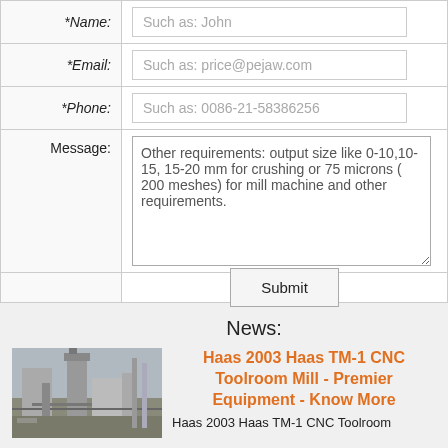| Label | Input |
| --- | --- |
| *Name: | Such as: John |
| *Email: | Such as: price@pejaw.com |
| *Phone: | Such as: 0086-21-58386256 |
| Message: | Other requirements: output size like 0-10,10-15, 15-20 mm for crushing or 75 microns ( 200 meshes) for mill machine and other requirements. |
|  | Submit |
News:
[Figure (photo): Industrial facility with large cylindrical equipment and machinery outdoors]
Haas 2003 Haas TM-1 CNC Toolroom Mill - Premier Equipment - Know More
Haas 2003 Haas TM-1 CNC Toolroom